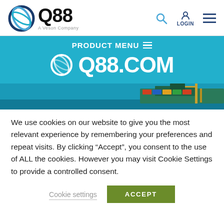[Figure (logo): Q88 logo with circular swirl icon and 'A Veson Company' subtitle]
[Figure (screenshot): PRODUCT MENU bar with hamburger icon and Q88.COM white text on teal/cyan background banner]
[Figure (photo): Partial ship/vessel image at bottom of blue banner]
We use cookies on our website to give you the most relevant experience by remembering your preferences and repeat visits. By clicking “Accept”, you consent to the use of ALL the cookies. However you may visit Cookie Settings to provide a controlled consent.
Cookie settings
ACCEPT